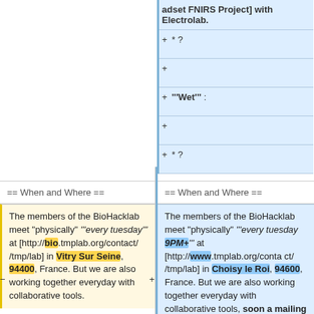adset FNIRS Project] with Electrolab.
+ * ?
+
+ '''Wet''' :
+
+ * ?
== When and Where ==
== When and Where ==
The members of the BioHacklab meet "physically" "'every tuesday'" at [http://bio.tmplab.org/contact/ /tmp/lab] in Vitry Sur Seine, 94400, France. But we are also working together everyday with collaborative tools.
The members of the BioHacklab meet "physically" "'every tuesday 9PM+'" at [http://www.tmplab.org/contact/ /tmp/lab] in Choisy le Roi, 94600, France. But we are also working together everyday with collaborative tools, soon a mailing list and a dedicated email.